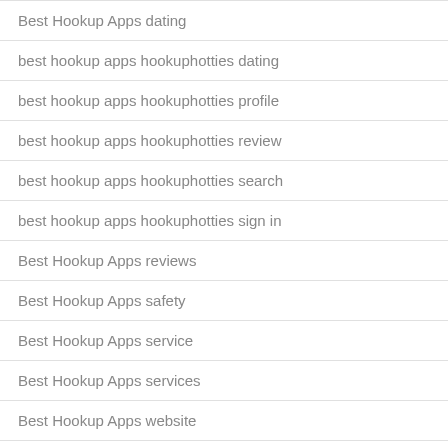Best Hookup Apps dating
best hookup apps hookuphotties dating
best hookup apps hookuphotties profile
best hookup apps hookuphotties review
best hookup apps hookuphotties search
best hookup apps hookuphotties sign in
Best Hookup Apps reviews
Best Hookup Apps safety
Best Hookup Apps service
Best Hookup Apps services
Best Hookup Apps website
Best Hookup Sites ads